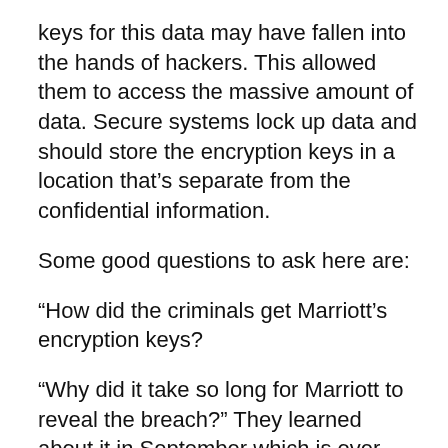keys for this data may have fallen into the hands of hackers. This allowed them to access the massive amount of data. Secure systems lock up data and should store the encryption keys in a location that’s separate from the confidential information.
Some good questions to ask here are:
“How did the criminals get Marriott’s encryption keys?
“Why did it take so long for Marriott to reveal the breach?” They learned about it in September which is over two months ago.
And, this was a 4-year long breach! “Why didn’t Marriott know that their customers’ data was being stolen over this long a period?"